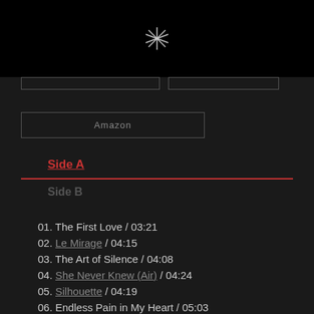[Figure (logo): Star/asterisk symbol icon in white on black background]
[Figure (other): Two rectangular bordered buttons side by side (no text visible)]
Amazon
Side A
Side B
01. The First Love / 03:21
02. Le Mirage / 04:15
03. The Art of Silence / 04:08
04. She Never Knew (Air) / 04:24
05. Silhouette / 04:19
06. Endless Pain in My Heart / 05:03
07. Lost in You (Just Illusion) / 03:46
08. Why / 04:14
09. Deep Night / 04:34